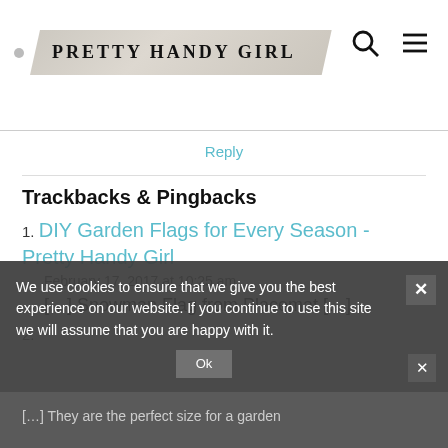[Figure (logo): Pretty Handy Girl logo — banner shape with serif uppercase text on tan/beige background, small bullet to the left]
Reply
Trackbacks & Pingbacks
1. DIY Garden Flags for Every Season - Pretty Handy Girl
February 17, 2017 at 10:25 am
[...] Snowman Flag from Placemat [...]
2. [obscured link]
We use cookies to ensure that we give you the best experience on our website. If you continue to use this site we will assume that you are happy with it.
[...] They are the perfect size for a garden